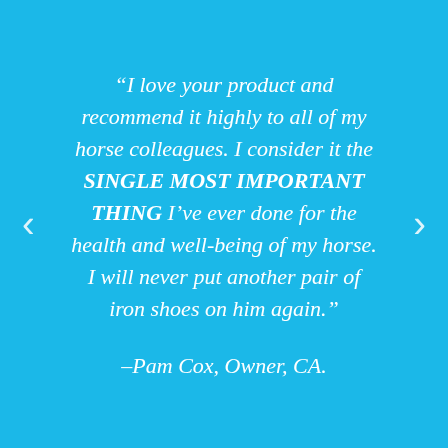“I love your product and recommend it highly to all of my horse colleagues. I consider it the SINGLE MOST IMPORTANT THING I’ve ever done for the health and well-being of my horse. I will never put another pair of iron shoes on him again.”
–Pam Cox, Owner, CA.